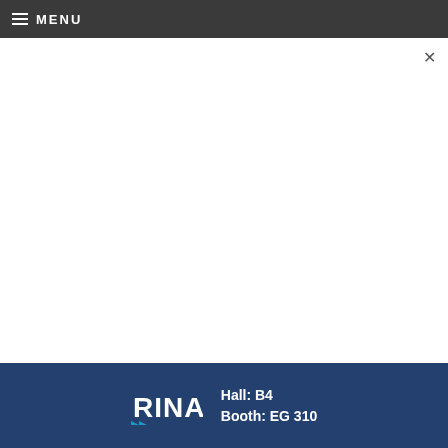MENU
[Figure (screenshot): Webinar promotional banner for Lloyd's List webinar: 'The cost and opportunity of Shipping's carbon transition', 15 September 2022 | 9am BST, with 'Register now' button and Lloyd's List logo on a blue geometric background.]
Join us for a live session focusing on the shift from fossil fuels to zero-carbon alternatives
Register today
[Figure (logo): RINA logo with Hall: B4, Booth: EG 310 text on dark blue background]